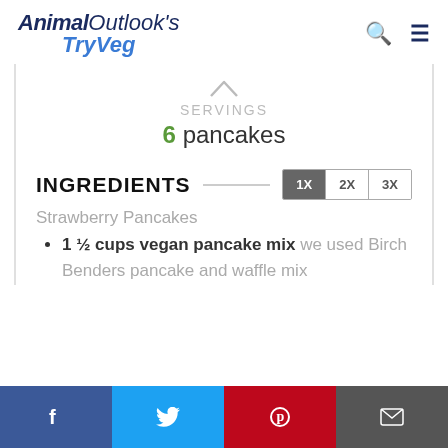Animal Outlook's TryVeg
SERVINGS
6 pancakes
INGREDIENTS
Strawberry Pancakes
1 ½ cups vegan pancake mix we used Birch Benders pancake and waffle mix